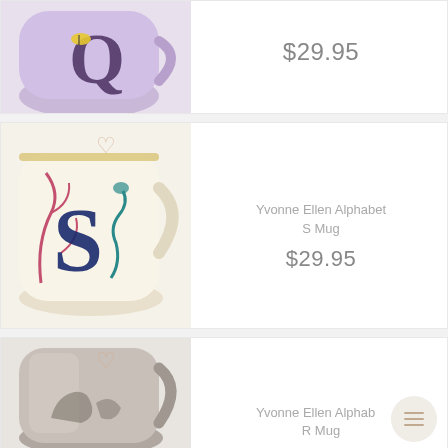[Figure (photo): Lavender mug with letter Q and bee illustration, partially cropped at top of page]
$29.95
[Figure (photo): White mug with letter S and underwater/seahorse botanical illustration]
Yvonne Ellen Alphabet S Mug
$29.95
[Figure (photo): Silver/metallic mug with animal illustration, partially cropped at bottom of page]
Yvonne Ellen Alphabet R Mug